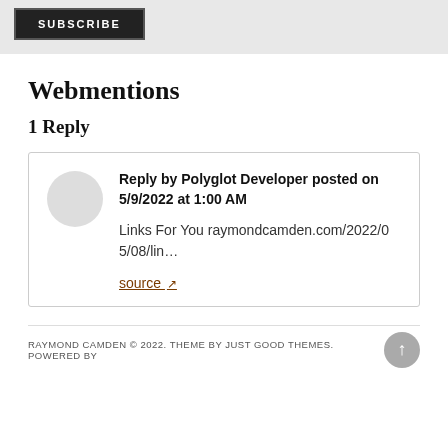[Figure (other): Subscribe button on gray background]
Webmentions
1 Reply
Reply by Polyglot Developer posted on 5/9/2022 at 1:00 AM

Links For You raymondcamden.com/2022/05/08/lin…

source
RAYMOND CAMDEN © 2022. THEME BY JUST GOOD THEMES. POWERED BY